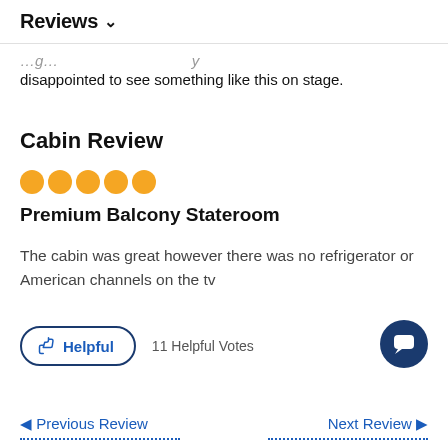Reviews ∨
disappointed to see something like this on stage.
Cabin Review
[Figure (other): 5 orange filled circle star rating indicators]
Premium Balcony Stateroom
The cabin was great however there was no refrigerator or American channels on the tv
Helpful  11 Helpful Votes
◄ Previous Review    Next Review ►